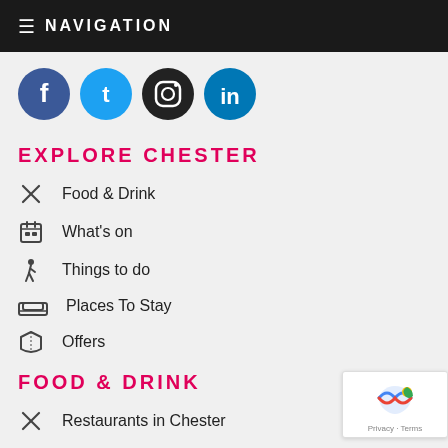≡ NAVIGATION
[Figure (illustration): Four social media icon buttons in circles: Facebook (blue), Twitter (blue), Instagram (black), LinkedIn (blue)]
EXPLORE CHESTER
Food & Drink
What's on
Things to do
Places To Stay
Offers
FOOD & DRINK
Restaurants in Chester